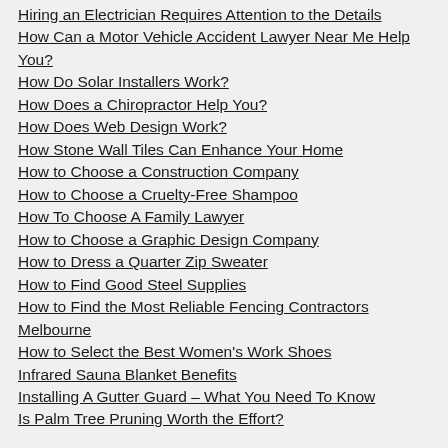Hiring an Electrician Requires Attention to the Details
How Can a Motor Vehicle Accident Lawyer Near Me Help You?
How Do Solar Installers Work?
How Does a Chiropractor Help You?
How Does Web Design Work?
How Stone Wall Tiles Can Enhance Your Home
How to Choose a Construction Company
How to Choose a Cruelty-Free Shampoo
How To Choose A Family Lawyer
How to Choose a Graphic Design Company
How to Dress a Quarter Zip Sweater
How to Find Good Steel Supplies
How to Find the Most Reliable Fencing Contractors Melbourne
How to Select the Best Women's Work Shoes
Infrared Sauna Blanket Benefits
Installing A Gutter Guard – What You Need To Know
Is Palm Tree Pruning Worth the Effort?